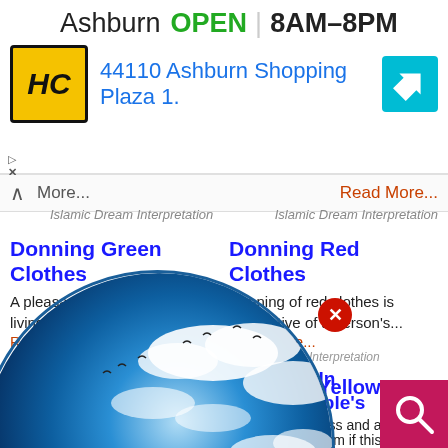[Figure (screenshot): Ad banner: Ashburn OPEN 8AM-8PM, HC logo, 44110 Ashburn Shopping Plaza 1., navigation icon]
More...
Read More...
Islamic Dream Interpretation
Islamic Dream Interpretation
Donning Green Clothes
Donning Red Clothes
A pleasant dream for both the living and...
Donning of red clothes is suggestive of a person's...
Read More...
Islamic Dream Interpretation
Donning Yellow Clothes
...ggests sickness and anxiety. ...there is no harm if this col...
Read More...
Islamic Dream Interpretation
[Figure (illustration): Dream Encyclopedia globe logo with clouds and birds]
Dressing In Other People's Clothes
[Figure (logo): Search button - magnifying glass icon on pink/crimson background]